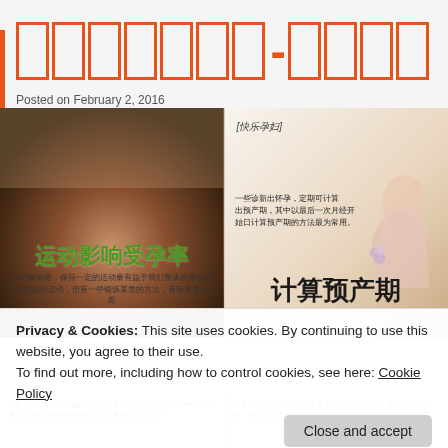□□□□□□□-□□□□
Posted on February 2, 2016
[Figure (photo): Left photo: dark curved surface (pregnant belly) with white baby shoes/bow on top, with Chinese text overlay '运动影响受孕率' and small Chinese subtitle text. Right photo: light pastel background with pregnant woman silhouette, Chinese tag [快乐孕妇], Chinese text block, and large Chinese text '计算预产期'.]
Privacy & Cookies: This site uses cookies. By continuing to use this website, you agree to their use.
To find out more, including how to control cookies, see here: Cookie Policy
Close and accept
虽然，并没有一个明确的指引告诉女性如何以运动来强壮身体以备孕育，但有一些锻炼某类的方法，有研究显示，而...
丝毫没有月份减除3(不足者是上9)，然后数以上7，即为预产期例如：最后一次月经为4月5日开始，预产期则为第二年1月12日...